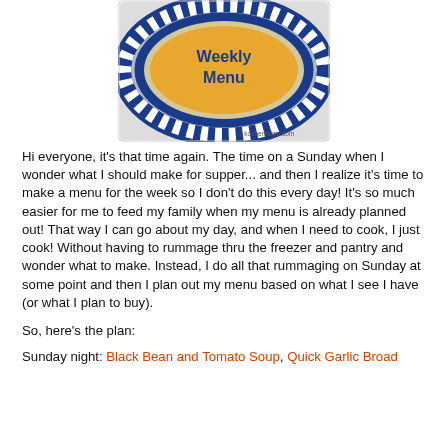[Figure (photo): A decorative plate with blue and white checkered border pattern, yellow/orange interior, and blue text reading 'Weekly Menu'. Watermark: © kosherfrugal.com]
Hi everyone, it's that time again. The time on a Sunday when I wonder what I should make for supper... and then I realize it's time to make a menu for the week so I don't do this every day! It's so much easier for me to feed my family when my menu is already planned out! That way I can go about my day, and when I need to cook, I just cook! Without having to rummage thru the freezer and pantry and wonder what to make. Instead, I do all that rummaging on Sunday at some point and then I plan out my menu based on what I see I have (or what I plan to buy).
So, here's the plan:
Sunday night: Black Bean and Tomato Soup, Quick Garlic Broad